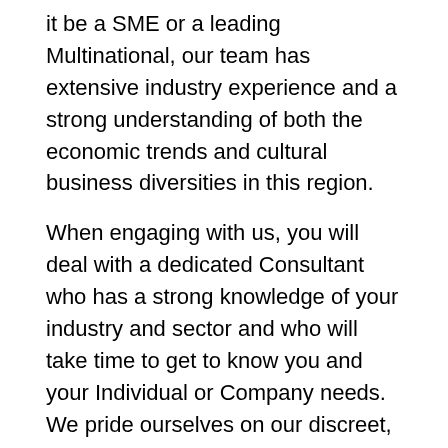it be a SME or a leading Multinational, our team has extensive industry experience and a strong understanding of both the economic trends and cultural business diversities in this region.
When engaging with us, you will deal with a dedicated Consultant who has a strong knowledge of your industry and sector and who will take time to get to know you and your Individual or Company needs. We pride ourselves on our discreet, transparent and service focused approach and to that end, we will form a relationship based on a mutual respect which really assists us understand your requirements. Our experience in industry adds particular value to the recruitment process and whilst we recruit at all levels and disciplines, we offer the same exceptional service levels should you be recruiting a junior member of staff or at Company Director level.